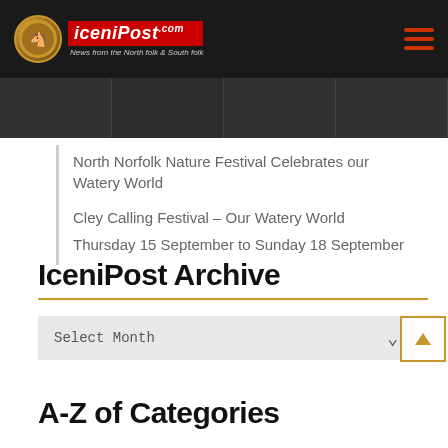iceniPost – News from the North folk & South folk
North Norfolk Nature Festival Celebrates our Watery World
Cley Calling Festival – Our Watery World
Thursday 15 September to Sunday 18 September
IceniPost Archive
Select Month
A-Z of Categories